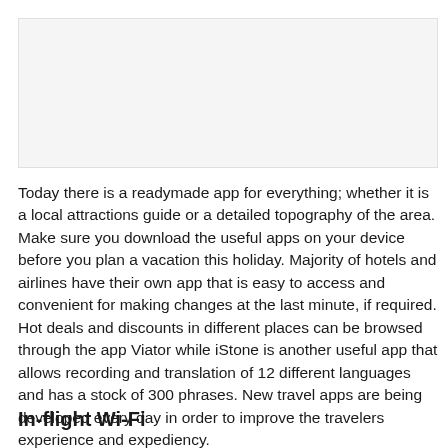[Figure (photo): Image placeholder at top of page]
Today there is a readymade app for everything; whether it is a local attractions guide or a detailed topography of the area. Make sure you download the useful apps on your device before you plan a vacation this holiday. Majority of hotels and airlines have their own app that is easy to access and convenient for making changes at the last minute, if required. Hot deals and discounts in different places can be browsed through the app Viator while iStone is another useful app that allows recording and translation of 12 different languages and has a stock of 300 phrases. New travel apps are being developed every day in order to improve the travelers experience and expediency.
In-flight Wi-Fi